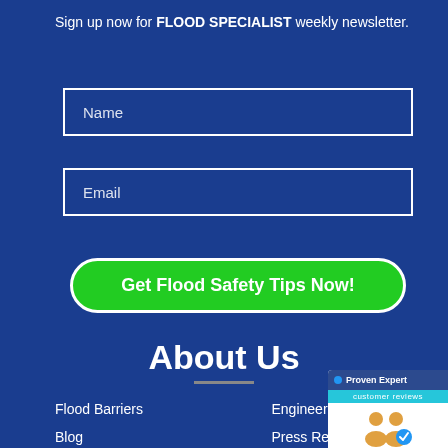Sign up now for FLOOD SPECIALIST weekly newsletter.
Name
Email
Get Flood Safety Tips Now!
About Us
Flood Barriers
Engineering Services
Blog
Press Release
Careers
Data Protection Regulation
[Figure (other): Proven Expert customer reviews badge showing 10 Reviews dated 07/15/2022]